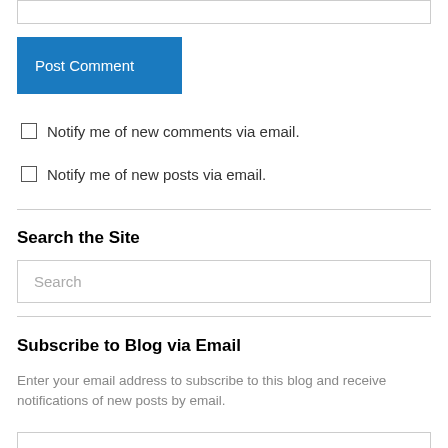[Figure (screenshot): A text input box at the top of the page]
Post Comment
Notify me of new comments via email.
Notify me of new posts via email.
Search the Site
[Figure (screenshot): A search input box with placeholder text 'Search']
Subscribe to Blog via Email
Enter your email address to subscribe to this blog and receive notifications of new posts by email.
[Figure (screenshot): An email input box at the bottom of the page]